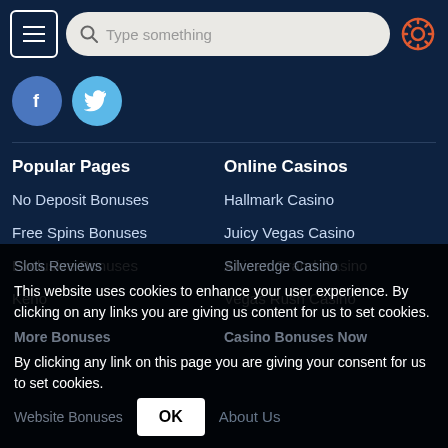[Figure (screenshot): Mobile browser top navigation bar with hamburger menu button, search bar with text 'Type something', and settings/gear icon]
[Figure (infographic): Social media icons: Facebook (blue circle with 'f') and Twitter (light blue circle with bird icon)]
Popular Pages
Online Casinos
No Deposit Bonuses
Hallmark Casino
Free Spins Bonuses
Juicy Vegas Casino
Exclusive Bonuses
African Grand Casino
Keno
Vegas Rush Casino
Slots Reviews
Silveredge Casino
More Bonuses
Casino Bonuses Now
Website Bonuses
About Us
This website uses cookies to enhance your user experience. By clicking on any links you are giving us content for us to set cookies. By clicking any link on this page you are giving your consent for us to set cookies.
OK